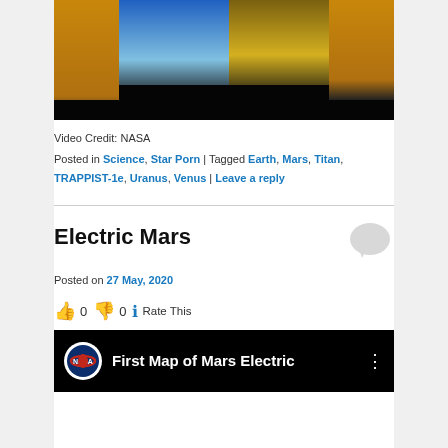[Figure (photo): Screenshot of a space/planet video thumbnail showing golden-orange and blue color bands against a dark background, cropped at top]
Video Credit: NASA
Posted in Science, Star Porn | Tagged Earth, Mars, Titan, TRAPPIST-1e, Uranus, Venus | Leave a reply
Electric Mars
Posted on 27 May, 2020
👍 0 👎 0 ℹ Rate This
[Figure (screenshot): Video thumbnail on black background showing NASA logo badge and text 'First Map of Mars Electric' with a three-dot menu icon]